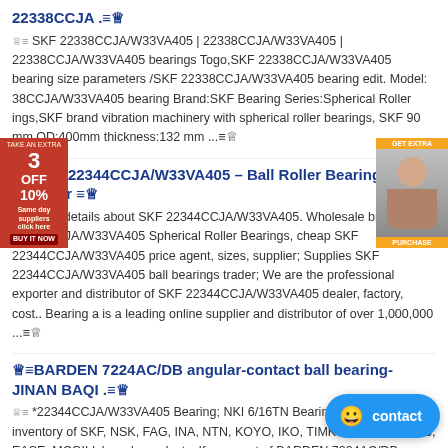22338CCJA .≡♛
♛≡ SKF 22338CCJA/W33VA405 | 22338CCJA/W33VA405 | 22338CCJA/W33VA405 bearings Togo,SKF 22338CCJA/W33VA405 bearing size parameters /SKF 22338CCJA/W33VA405 bearing edit. Model: 38CCJA/W33VA405 bearing Brand:SKF Bearing Series:Spherical Roller ings,SKF brand vibration machinery with spherical roller bearings, SKF 90 mm OD:400mm thickness:132 mm ...≡♛
♛≡SKF 22344CCJA/W33VA405 – Ball Roller Bearings Supplier ≡♛
♛≡ More details about SKF 22344CCJA/W33VA405. Wholesale brand SKF 22344CCJA/W33VA405 Spherical Roller Bearings, cheap SKF 22344CCJA/W33VA405 price agent, sizes, supplier; Supplies SKF 22344CCJA/W33VA405 ball bearings trader; We are the professional exporter and distributor of SKF 22344CCJA/W33VA405 dealer, factory, cost.. Bearing a is a leading online supplier and distributor of over 1,000,000 ...≡♛
♛≡BARDEN 7224AC/DB angular-contact ball bearing-JINAN BAQI .≡♛
♛≡ *22344CCJA/W33VA405 Bearing; NKI 6/16TN Bearing;... We have huge inventory of SKF, NSK, FAG, INA, NTN, KOYO, IKO, TIMKEN, HIWIN, NMB, EASE, MCGILL brands products. If you want of BARDEN 7224AC/DB angular-contact ball bearing or need more